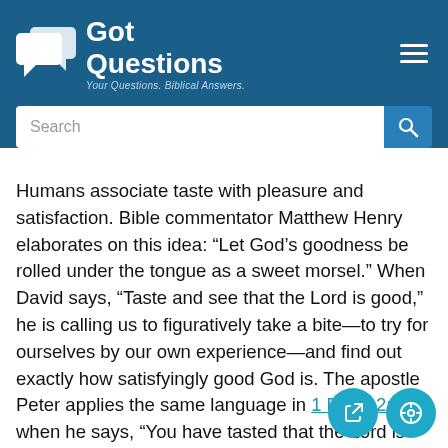Got Questions — Your Questions. Biblical Answers.
Humans associate taste with pleasure and satisfaction. Bible commentator Matthew Henry elaborates on this idea: “Let God’s goodness be rolled under the tongue as a sweet morsel.” When David says, “Taste and see that the Lord is good,” he is calling us to figuratively take a bite—to try for ourselves by our own experience—and find out exactly how satisfyingly good God is. The apostle Peter applies the same language in 1 Peter 2:3 when he says, “You have tasted that the Lord is good.”